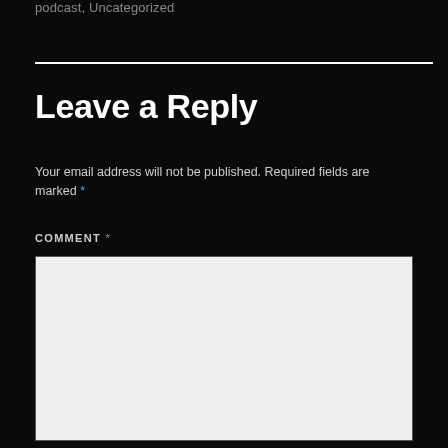podcast, Uncategorized
Leave a Reply
Your email address will not be published. Required fields are marked *
COMMENT *